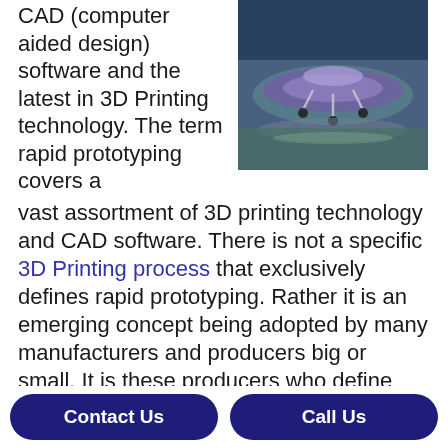CAD (computer aided design) software and the latest in 3D Printing technology.  The term rapid prototyping covers a vast assortment of 3D printing technology and CAD software.  There is not a specific 3D Printing process that exclusively defines rapid prototyping.  Rather it is an emerging concept being adopted by many manufacturers and producers big or small.  It is these producers who define how rapid prototyping applies to their individual design concepts.
[Figure (photo): A 3D printed object resembling a flying saucer or disc-shaped model on a metallic surface, shown in a teal/purple-toned photograph.]
Rapid Prototyping is growing in popularity
Contact Us
Call Us